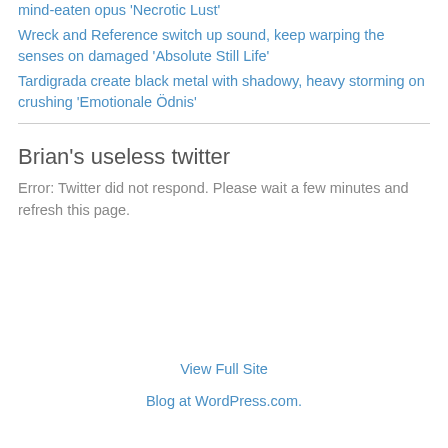Drudge Consumption add grime, funneled built into death metal on mind-eaten opus 'Necrotic Lust'
Wreck and Reference switch up sound, keep warping the senses on damaged 'Absolute Still Life'
Tardigrada create black metal with shadowy, heavy storming on crushing 'Emotionale Ödnis'
Brian's useless twitter
Error: Twitter did not respond. Please wait a few minutes and refresh this page.
View Full Site
Blog at WordPress.com.